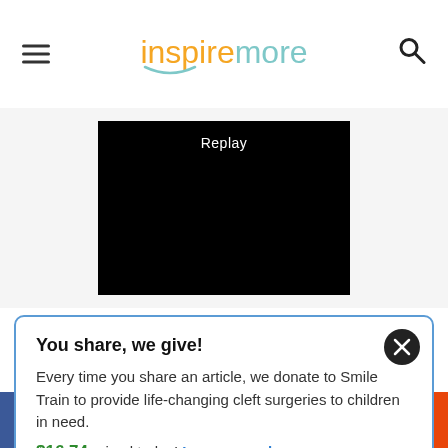inspiremore
[Figure (screenshot): Black video player box with 'Replay' text at top center]
2 Corinthians 12:9-10: But he said to me, 'My
You share, we give! Every time you share an article, we donate to Smile Train to provide life-changing cleft surgeries to children in need. $16.74 raised today! Learn more here.
Social share bar: Facebook, Twitter, Pinterest, Reddit, Email, More